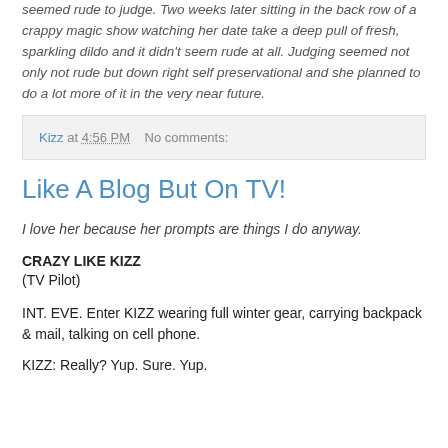seemed rude to judge. Two weeks later sitting in the back row of a crappy magic show watching her date take a deep pull of fresh, sparkling dildo and it didn't seem rude at all. Judging seemed not only not rude but down right self preservational and she planned to do a lot more of it in the very near future.
Kizz at 4:56 PM    No comments:
Like A Blog But On TV!
I love her because her prompts are things I do anyway.
CRAZY LIKE KIZZ
(TV Pilot)
INT. EVE. Enter KIZZ wearing full winter gear, carrying backpack & mail, talking on cell phone.
KIZZ: Really? Yup. Sure. Yup.